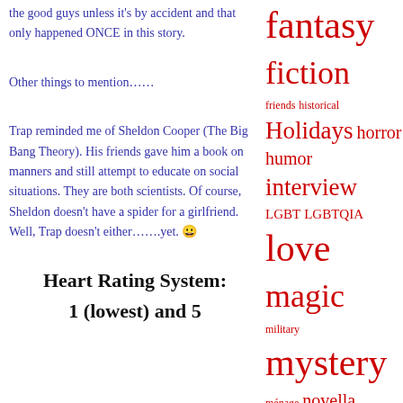the good guys unless it's by accident and that only happened ONCE in this story.
Other things to mention……
Trap reminded me of Sheldon Cooper (The Big Bang Theory). His friends gave him a book on manners and still attempt to educate on social situations. They are both scientists. Of course, Sheldon doesn't have a spider for a girlfriend. Well, Trap doesn't either…….yet. 😀
Heart Rating System:
1 (lowest) and 5
[Figure (infographic): Tag cloud with book genre and topic tags in varying red font sizes: fantasy, fiction, friends, historical, Holidays, horror, humor, interview, LGBT, LGBTQIA, love, magic, military, mystery, ménage, novella, paranormal, picture book, review, romance, scifi, sexiness, sexy, short story, showcase, sports, spotlight, supernatural, suspense, sweet, tattoos, teen, thriller, western, witches, YA]